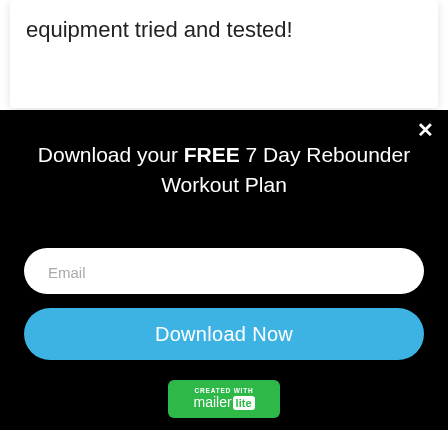equipment tried and tested!
[Figure (screenshot): Three social share buttons: Facebook (blue), Twitter (light blue), Pinterest (red)]
Download your FREE 7 Day Rebounder Workout Plan
Email
Download Now
[Figure (logo): Created with MailerLite green badge]